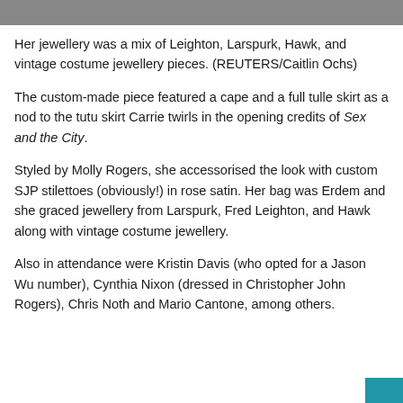[Figure (photo): Partial photo strip visible at the top of the page, showing what appears to be a person.]
Her jewellery was a mix of Leighton, Larspurk, Hawk, and vintage costume jewellery pieces. (REUTERS/Caitlin Ochs)
The custom-made piece featured a cape and a full tulle skirt as a nod to the tutu skirt Carrie twirls in the opening credits of Sex and the City.
Styled by Molly Rogers, she accessorised the look with custom SJP stilettoes (obviously!) in rose satin. Her bag was Erdem and she graced jewellery from Larspurk, Fred Leighton, and Hawk along with vintage costume jewellery.
Also in attendance were Kristin Davis (who opted for a Jason Wu number), Cynthia Nixon (dressed in Christopher John Rogers), Chris Noth and Mario Cantone, among others.